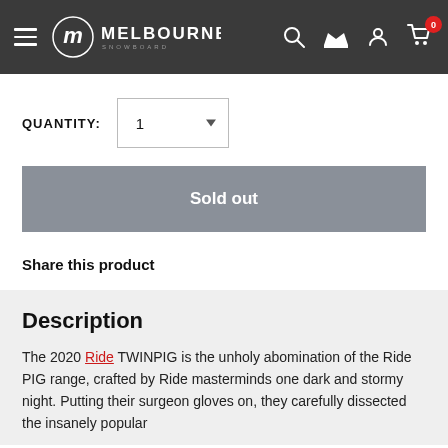Melbourne Snowboard — Navigation header with hamburger menu, logo, search, account, and cart icons
QUANTITY: 1
Sold out
Share this product
Description
The 2020 Ride TWINPIG is the unholy abomination of the Ride PIG range, crafted by Ride masterminds one dark and stormy night. Putting their surgeon gloves on, they carefully dissected the insanely popular